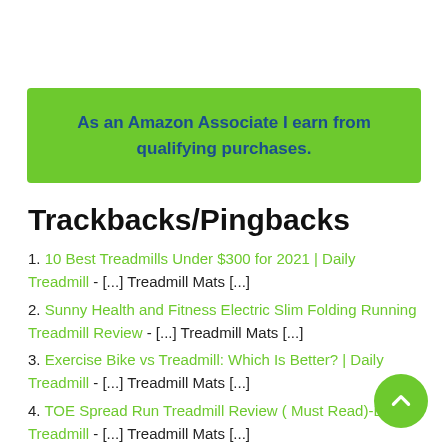As an Amazon Associate I earn from qualifying purchases.
Trackbacks/Pingbacks
1. 10 Best Treadmills Under $300 for 2021 | Daily Treadmill - [...] Treadmill Mats [...]
2. Sunny Health and Fitness Electric Slim Folding Running Treadmill Review - [...] Treadmill Mats [...]
3. Exercise Bike vs Treadmill: Which Is Better? | Daily Treadmill - [...] Treadmill Mats [...]
4. TOE Spread Run Treadmill Review ( Must Read)-Daily Treadmill - [...] Treadmill Mats [...]
5. TOE 1.0HP Treadmill Review - [...] Treadmill Mats [...]